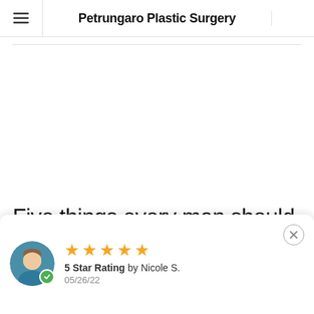Petrungaro Plastic Surgery
Five things every man should
5 Star Rating by Nicole S. 05/26/22